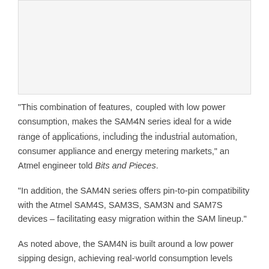[Figure (other): Image placeholder at top of page (product or diagram image not fully visible)]
"This combination of features, coupled with low power consumption, makes the SAM4N series ideal for a wide range of applications, including the industrial automation, consumer appliance and energy metering markets," an Atmel engineer told Bits and Pieces.
"In addition, the SAM4N series offers pin-to-pin compatibility with the Atmel SAM4S, SAM3S, SAM3N and SAM7S devices – facilitating easy migration within the SAM lineup."
As noted above, the SAM4N is built around a low power sipping design, achieving real-world consumption levels down to 170µA/MHz in active mode; down to 20µA in sleep mode with full